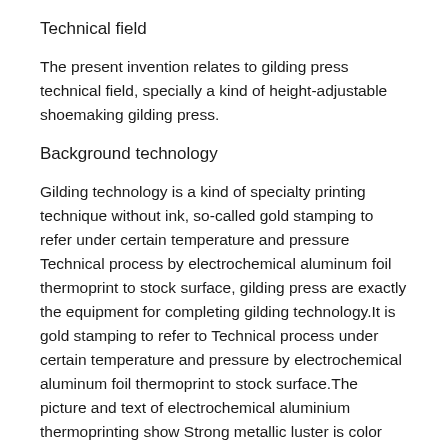Technical field
The present invention relates to gilding press technical field, specially a kind of height-adjustable shoemaking gilding press.
Background technology
Gilding technology is a kind of specialty printing technique without ink, so-called gold stamping to refer under certain temperature and pressure Technical process by electrochemical aluminum foil thermoprint to stock surface, gilding press are exactly the equipment for completing gilding technology.It is gold stamping to refer to Technical process under certain temperature and pressure by electrochemical aluminum foil thermoprint to stock surface.The picture and text of electrochemical aluminium thermoprinting show Strong metallic luster is color glow, will never fade.Especially gold and silver anodized aluminium, it is splendid, exquisite graceful with its Printed matter surface has been interspersed in decoration, is enhanced the artistry of printing, is served the effect of publicity of projecting motif。Its bright degree is big Bronze printing and Yin Xiao compared, how large the bronze and